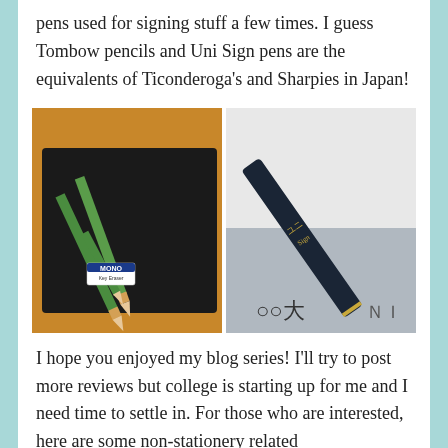pens used for signing stuff a few times. I guess Tombow pencils and Uni Sign pens are the equivalents of Ticonderoga's and Sharpies in Japan!
[Figure (photo): Two side-by-side photos: left shows green Tombow pencils and a MONO eraser on a black tray on a wooden surface; right shows a close-up of a dark Uni Sign pen with Japanese characters on it against a surface with printed text.]
I hope you enjoyed my blog series! I'll try to post more reviews but college is starting up for me and I need time to settle in. For those who are interested, here are some non-stationery related